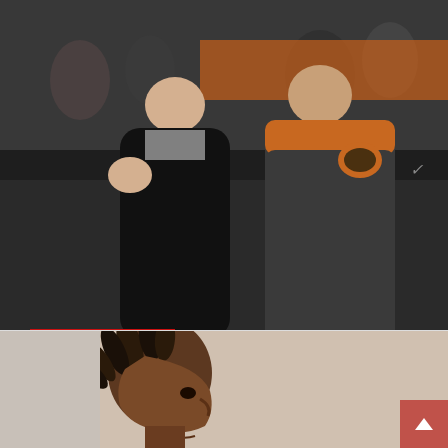[Figure (photo): Two men standing together outdoors at an NFL stadium, one wearing a Cleveland Browns jacket. Photo is taken in winter weather.]
FRONT OFFICE
Dan Hatman's 2018 NFL Scout Movement Tracker
May 2, 2018 / Dan Hatman / No Comments
[dt_divider style="thick" /]Each year the NFL scouting community engages in a shuffle, as both personnel and scouts…
[Figure (photo): Close-up side profile of a young Black man with dreadlocks, likely an NFL prospect.]